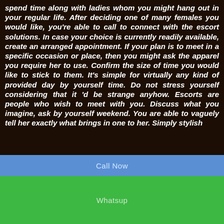spend time along with ladies whom you might hang out in your regular life. After deciding one of many females you would like, you're able to call to connect with the escort solutions. In case your choice is currently readily available, create an arranged appointment. If your plan is to meet in a specific occasion or place, then you might ask the apparel you require her to use. Confirm the size of time you would like to stick to them. It's simple for virtually any kind of provided day by yourself time. Do not stress yourself considering that it 'd be strange anyhow. Escorts are people who wish to meet with you. Discuss what you imagine, ask by yourself weekend. You are able to vaguely tell her exactly what brings in one to her. Simply stylish
PURBA MEDINIPUR ESCORTS: – VARIANTS OF FANTASTIC HOT LADIES
Now's active way of life is actually where each Male is clearly energetic and also working more hours than before. Undoubtedly everybody desires some sort of
Call Now
Whatsup